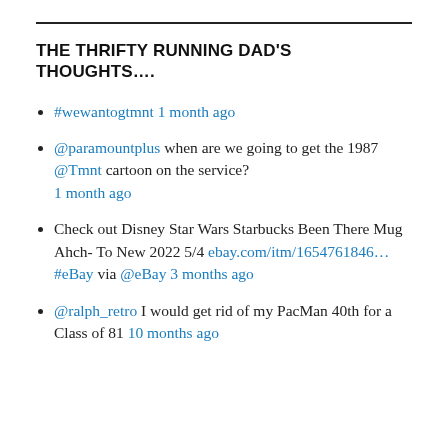THE THRIFTY RUNNING DAD'S THOUGHTS….
#wewantogtmnt 1 month ago
@paramountplus when are we going to get the 1987 @Tmnt cartoon on the service? 1 month ago
Check out Disney Star Wars Starbucks Been There Mug Ahch- To New 2022 5/4 ebay.com/itm/1654761846… #eBay via @eBay 3 months ago
@ralph_retro I would get rid of my PacMan 40th for a Class of 81 10 months ago